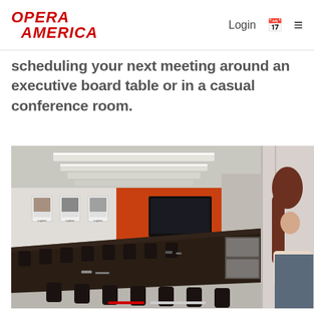OPERA AMERICA — Login
scheduling your next meeting around an executive board table or in a casual conference room.
[Figure (photo): Conference room with long dark board table, black executive chairs, orange accent wall with flat-screen TV, and framed portraits on the white wall. Modern lighting on the ceiling.]
[Figure (photo): Partial view of second photo showing a person with long reddish-brown hair seated at a table.]